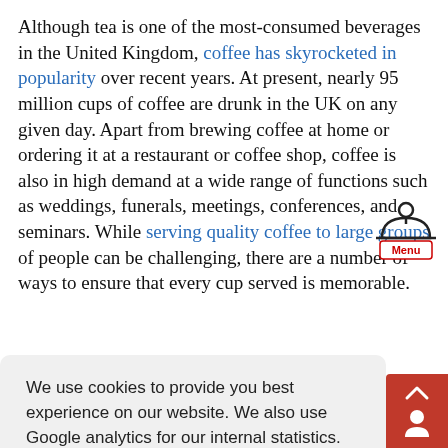Although tea is one of the most-consumed beverages in the United Kingdom, coffee has skyrocketed in popularity over recent years. At present, nearly 95 million cups of coffee are drunk in the UK on any given day. Apart from brewing coffee at home or ordering it at a restaurant or coffee shop, coffee is also in high demand at a wide range of functions such as weddings, funerals, meetings, conferences, and seminars. While serving quality coffee to large groups of people can be challenging, there are a number of ways to ensure that every cup served is memorable.
[Figure (screenshot): Menu icon overlay in top-right area of text]
We use cookies to provide you best experience on our website. We also use Google analytics for our internal statistics. You may choose to disable analytics if you prefer. Read More
Disable analytics   Got It!
Apart from being very convenient, cold brewing is known to result in reduced bitterness and acidity, which is